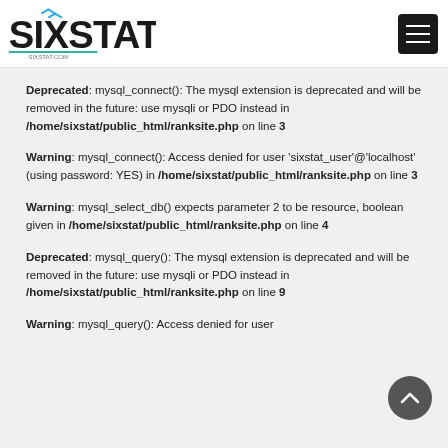SIXSTAT - sixstat.com
Deprecated: mysql_connect(): The mysql extension is deprecated and will be removed in the future: use mysqli or PDO instead in /home/sixstat/public_html/ranksite.php on line 3
Warning: mysql_connect(): Access denied for user 'sixstat_user'@'localhost' (using password: YES) in /home/sixstat/public_html/ranksite.php on line 3
Warning: mysql_select_db() expects parameter 2 to be resource, boolean given in /home/sixstat/public_html/ranksite.php on line 4
Deprecated: mysql_query(): The mysql extension is deprecated and will be removed in the future: use mysqli or PDO instead in /home/sixstat/public_html/ranksite.php on line 9
Warning: mysql_query(): Access denied for user